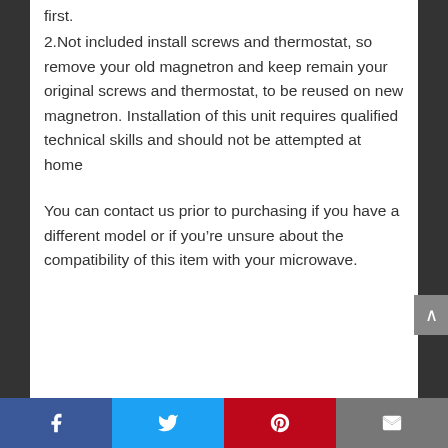first.
2.Not included install screws and thermostat, so remove your old magnetron and keep remain your original screws and thermostat, to be reused on new magnetron. Installation of this unit requires qualified technical skills and should not be attempted at home
You can contact us prior to purchasing if you have a different model or if you’re unsure about the compatibility of this item with your microwave.
Facebook | Twitter | Pinterest | Email